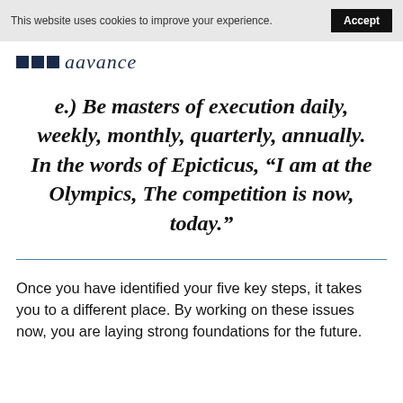This website uses cookies to improve your experience. Accept
[Figure (logo): Three dark navy squares followed by italic script text reading 'aavance']
e.) Be masters of execution daily, weekly, monthly, quarterly, annually. In the words of Epicticus, “I am at the Olympics, The competition is now, today.”
Once you have identified your five key steps, it takes you to a different place. By working on these issues now, you are laying strong foundations for the future.